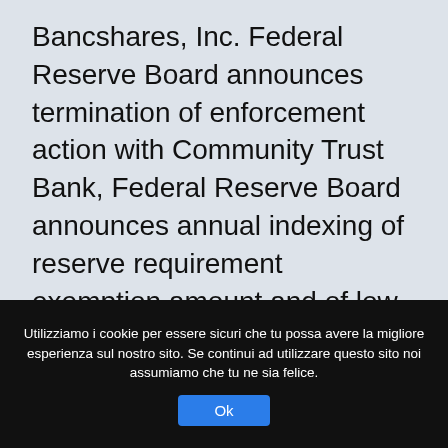Bancshares, Inc. Federal Reserve Board announces termination of enforcement action with Community Trust Bank, Federal Reserve Board announces annual indexing of reserve requirement exemption amount and of low reserve tranche for 2021, Federal Reserve Board announces results from second round of bank stress tests will be released Friday, December 18, at 4:30 p.m. EST, Federal Reserve Board announces members of its Insurance Policy Advisory Committee, Minutes of the Board's discount rate meeting from October 5 through
Utilizziamo i cookie per essere sicuri che tu possa avere la migliore esperienza sul nostro sito. Se continui ad utilizzare questo sito noi assumiamo che tu ne sia felice.